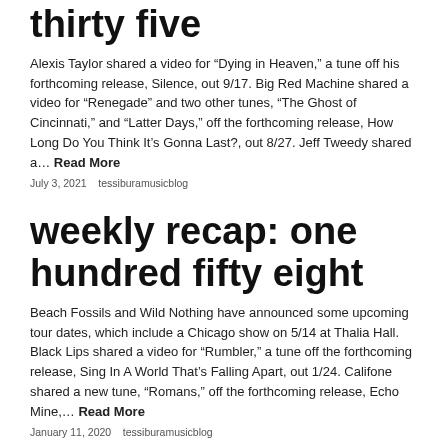thirty five
Alexis Taylor shared a video for “Dying in Heaven,” a tune off his forthcoming release, Silence, out 9/17. Big Red Machine shared a video for “Renegade” and two other tunes, “The Ghost of Cincinnati,” and “Latter Days,” off the forthcoming release, How Long Do You Think It’s Gonna Last?, out 8/27. Jeff Tweedy shared a… Read More
July 3, 2021   tessiburamusicblog
weekly recap: one hundred fifty eight
Beach Fossils and Wild Nothing have announced some upcoming tour dates, which include a Chicago show on 5/14 at Thalia Hall. Black Lips shared a video for “Rumbler,” a tune off the forthcoming release, Sing In A World That’s Falling Apart, out 1/24. Califone shared a new tune, “Romans,” off the forthcoming release, Echo Mine,… Read More
January 11, 2020   tessiburamusicblog
weekly recap: one hundred fifty three